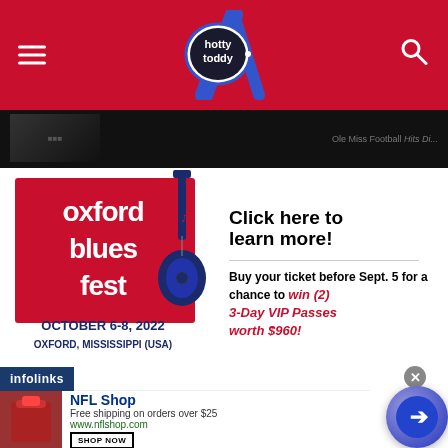hotty toddy
[Figure (photo): Dark background image strip showing partially visible content]
[Figure (infographic): Oxford Blues Fest advertisement - October 6-8, 2022, Oxford Mississippi USA. Click here to learn more! Buy your ticket before Sept. 5 for a chance to win (2) 3-Day VIP Passes worth $960!]
Click here to learn more!
Buy your ticket before Sept. 5 for a chance to win (2) 3-Day VIP Passes worth $960!
[Figure (infographic): NFL Shop advertisement - Free shipping on orders over $25 - www.nflshop.com - SHOP NOW button]
NFL Shop
Free shipping on orders over $25
www.nflshop.com